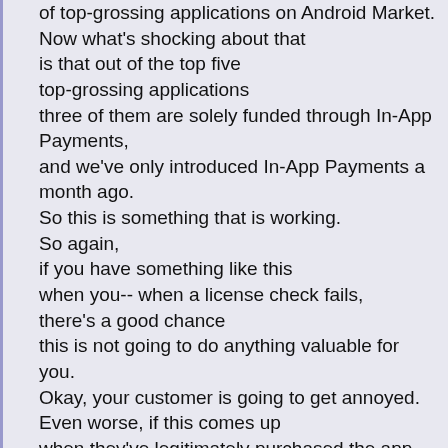of top-grossing applications on Android Market. Now what's shocking about that is that out of the top five top-grossing applications three of them are solely funded through In-App Payments, and we've only introduced In-App Payments a month ago. So this is something that is working. So again, if you have something like this when you-- when a license check fails, there's a good chance this is not going to do anything valuable for you. Okay, your customer is going to get annoyed. Even worse, if this comes up when they've legitimately purchased the app, they're gonna be really upset. Although actually I-I would find that kind of cool. But, uh... [laughter] Galpin: But--but there are ways in which we can approach thi again, as a marketing tool. So--so think about this.